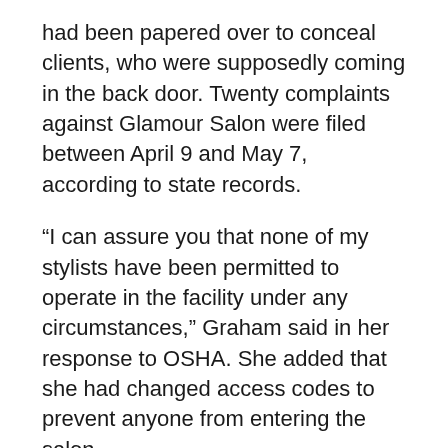had been papered over to conceal clients, who were supposedly coming in the back door. Twenty complaints against Glamour Salon were filed between April 9 and May 7, according to state records.
“I can assure you that none of my stylists have been permitted to operate in the facility under any circumstances,” Graham said in her response to OSHA. She added that she had changed access codes to prevent anyone from entering the salon.
Graham also responded that within days of receiving the complaint, she fired “multiple